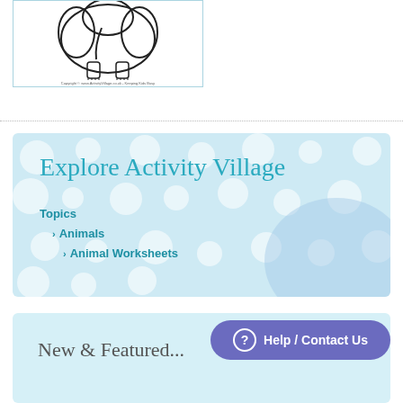[Figure (illustration): A black and white outline coloring page of an elephant, shown from the front, with large ears and legs visible. Copyright text at the bottom reads: Copyright © www.ActivityVillage.co.uk - Keeping Kids Busy]
Animal Colouring Pages
Explore Activity Village
Topics
Animals
Animal Worksheets
New & Featured...
Help / Contact Us